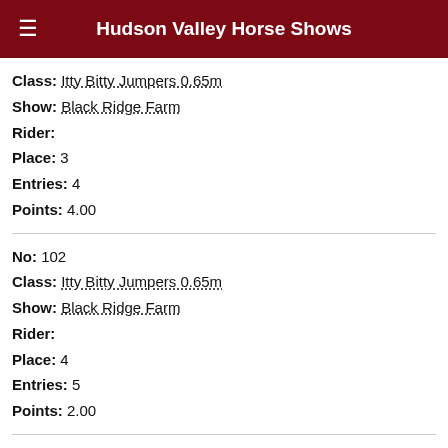Hudson Valley Horse Shows
Class: Itty Bitty Jumpers 0.65m
Show: Black Ridge Farm
Rider:
Place: 3
Entries: 4
Points: 4.00
No: 102
Class: Itty Bitty Jumpers 0.65m
Show: Black Ridge Farm
Rider:
Place: 4
Entries: 5
Points: 2.00
No: 101
Class: Itty Bitty Jumpers 0.65m
Show: Black Ridge Farm
Rider:
Place: 4
Entries: 5